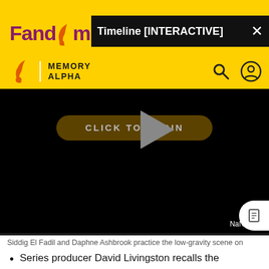Fandom | Memory Alpha
Timeline [INTERACTIVE]
[Figure (screenshot): Video player with black background, a dark golden pill-shaped button reading 'CLICK TO BEGIN', a large grey play triangle in the center, and a 'NaN:NaN' timestamp in the bottom right. Below, a dark grayscale thumbnail of a scene from a TV show.]
Siddig El Fadil and Daphne Ashbrook practice the low-gravity scene on wires
Series producer David Livingston recalls the